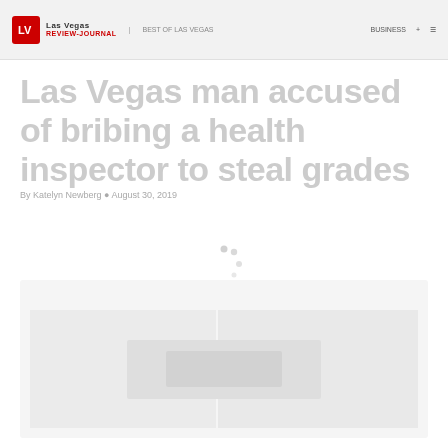Las Vegas Review-Journal
Las Vegas man accused of bribing a health inspector to steal grades
By [author] • August 30, 2019
[Figure (photo): Loading spinner / content placeholder image area showing a partially loaded news page with a spinning loading indicator]